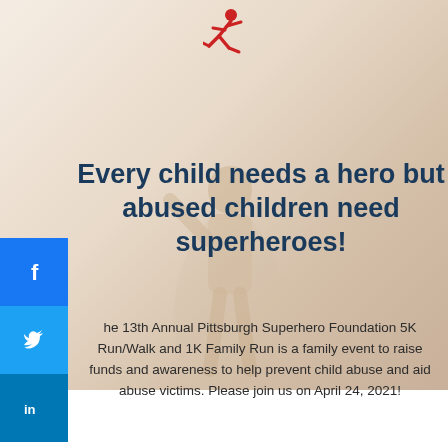[Figure (logo): Red running person icon at the top center of the page]
Every child needs a hero but abused children need superheroes!
The 13th Annual Pittsburgh Superhero Foundation 5K Run/Walk and 1K Family Run is a family event to raise funds and awareness to help prevent child abuse and aid abuse victims. Please join us on April 24, 2021!
How will you go the distance?
Learn More >